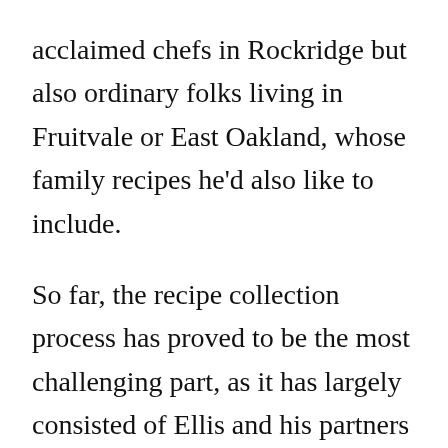acclaimed chefs in Rockridge but also ordinary folks living in Fruitvale or East Oakland, whose family recipes he'd also like to include.

So far, the recipe collection process has proved to be the most challenging part, as it has largely consisted of Ellis and his partners